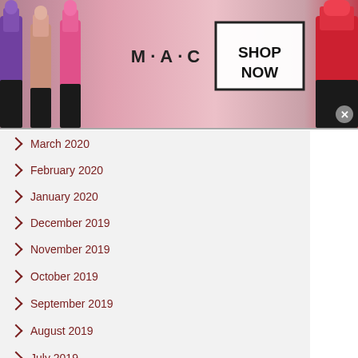[Figure (screenshot): MAC Cosmetics advertisement banner showing lipsticks in purple, pink, and red colors with MAC logo and SHOP NOW button]
March 2020
February 2020
January 2020
December 2019
November 2019
October 2019
September 2019
August 2019
July 2019
[Figure (screenshot): Frontgate advertisement: Outdoor Furniture | Bedding. 25% off site wide sale going on now at Frontgate.com. Shows frontgate.com URL and a blue circle arrow button.]